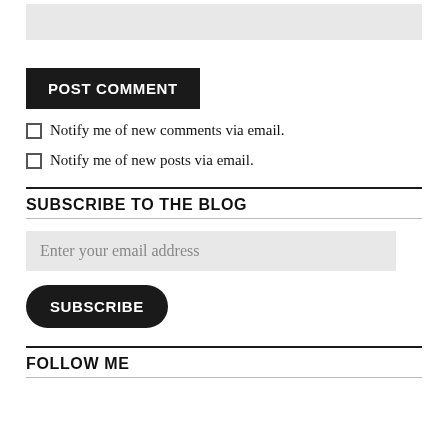[input field — text area]
POST COMMENT
Notify me of new comments via email.
Notify me of new posts via email.
SUBSCRIBE TO THE BLOG
Enter your email address
SUBSCRIBE
FOLLOW ME